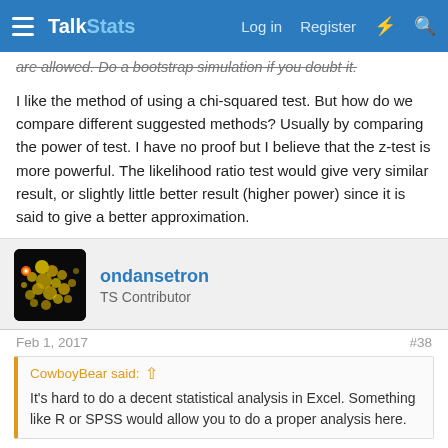Talk Stats — Log in  Register
are allowed. Do a bootstrap simulation if you doubt it.
I like the method of using a chi-squared test. But how do we compare different suggested methods? Usually by comparing the power of test. I have no proof but I believe that the z-test is more powerful. The likelihood ratio test would give very similar result, or slightly little better result (higher power) since it is said to give a better approximation.
ondansetron
TS Contributor
Feb 1, 2017  #38
CowboyBear said: ↑
It's hard to do a decent statistical analysis in Excel. Something like R or SPSS would allow you to do a proper analysis here.
I haven't used SAS University, specifically (because I have access to a wide range of statistics programs), but it...